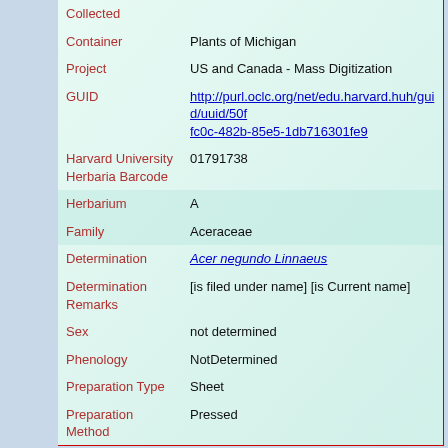| Field | Value |
| --- | --- |
| Collected |  |
| Container | Plants of Michigan |
| Project | US and Canada - Mass Digitization |
| GUID | http://purl.oclc.org/net/edu.harvard.huh/guid/uuid/50f... fc0c-482b-85e5-1db716301fe9 |
| Harvard University Herbaria Barcode | 01791738 |
| Herbarium | A |
| Family | Aceraceae |
| Determination | Acer negundo Linnaeus |
| Determination Remarks | [is filed under name] [is Current name] |
| Sex | not determined |
| Phenology | NotDetermined |
| Preparation Type | Sheet |
| Preparation Method | Pressed |